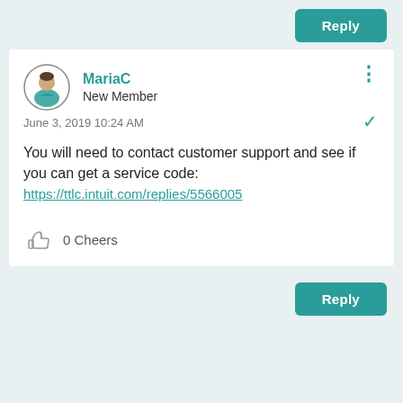[Figure (screenshot): Forum reply comment UI with user avatar, name, date, message text, cheers button, and Reply buttons]
MariaC
New Member
June 3, 2019 10:24 AM
You will need to contact customer support and see if you can get a service code:
https://ttlc.intuit.com/replies/5566005
0 Cheers